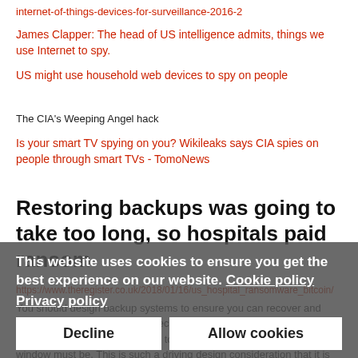internet-of-things-devices-for-surveillance-2016-2
James Clapper: The head of US intelligence admits, things we use Internet to spy.
US might use household web devices to spy on people
The CIA's Weeping Angel hack
Is your smart TV spying on you? Wikileaks says CIA spies on people through smart TVs - TomoNews
Restoring backups was going to take too long, so hospitals paid ransom
https://www.theregister.co.uk/2018/01/16/us_hospital_ransomware_bitcoin/
You should design backup systems to ensure you can recover and restore within what is called a recovery time window. The first step in engineering a backup system is to define what the recovery time window must be. This is such a driving design consideration that it is the primary decision making factor, or should be.
In many cases the recovery time objective is such that a clustered hot failover system is required. There should have been hourly snapshots of
This website uses cookies to ensure you get the best experience on our website. Cookie policy
Privacy policy
Decline
Allow cookies